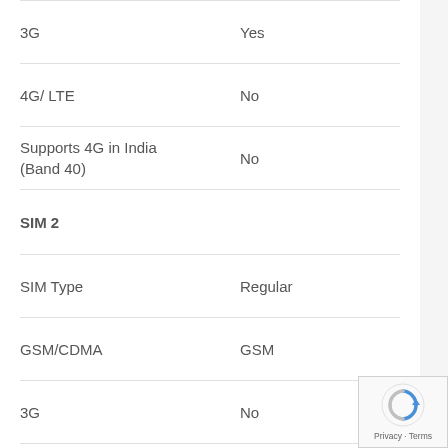| Feature | Value |
| --- | --- |
| 3G | Yes |
| 4G/ LTE | No |
| Supports 4G in India (Band 40) | No |
| SIM 2 |  |
| SIM Type | Regular |
| GSM/CDMA | GSM |
| 3G | No |
| 4G/ LTE | No |
| Supports 4G in India (Band 40) | No |